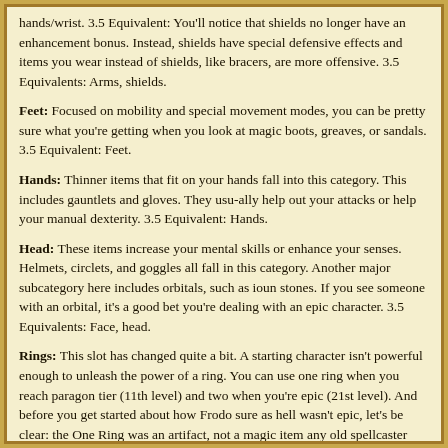hands/wrist. 3.5 Equivalent: You'll notice that shields no longer have an enhancement bonus. Instead, shields have special defensive effects and items you wear instead of shields, like bracers, are more offensive. 3.5 Equivalents: Arms, shields.
Feet: Focused on mobility and special movement modes, you can be pretty sure what you're getting when you look at magic boots, greaves, or sandals. 3.5 Equivalent: Feet.
Hands: Thinner items that fit on your hands fall into this category. This includes gauntlets and gloves. They usu-ally help out your attacks or help your manual dexterity. 3.5 Equivalent: Hands.
Head: These items increase your mental skills or enhance your senses. Helmets, circlets, and goggles all fall in this category. Another major subcategory here includes orbitals, such as ioun stones. If you see someone with an orbital, it's a good bet you're dealing with an epic character. 3.5 Equivalents: Face, head.
Rings: This slot has changed quite a bit. A starting character isn't powerful enough to unleash the power of a ring. You can use one ring when you reach paragon tier (11th level) and two when you're epic (21st level). And before you get started about how Frodo sure as hell wasn't epic, let's be clear: the One Ring was an artifact, not a magic item any old spellcaster could make. Artifacts follow their own rules. 3.5 Equivalent: Rings.
Waist: Items you wear around your waist are usually about protection, healing, or increasing your Strength tem-porarily. 3.5 Equivalent: Waist.
Other Items
Some items don't use item slots. Some of them aren't useful in combat. Others can be useful in a fight, but only once in a while.